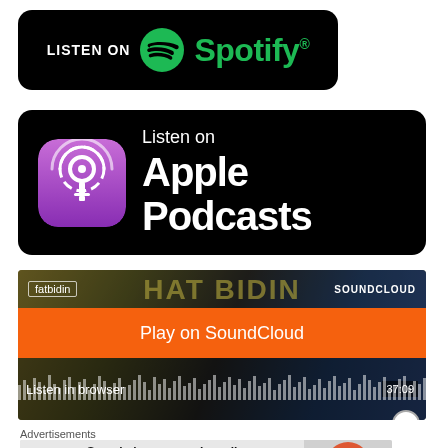[Figure (logo): Listen on Spotify badge — black rounded rectangle with Spotify green logo and white LISTEN ON text]
[Figure (logo): Listen on Apple Podcasts badge — black rounded rectangle with purple Apple Podcasts icon and white text]
[Figure (screenshot): SoundCloud embed player showing 'Play on SoundCloud' orange button and 'Listen in browser' with waveform, time 37:09, username fatbidin]
Advertisements
[Figure (screenshot): DuckDuckGo advertisement banner: 'Search, browse, and email with more privacy. All in One Free App' with DuckDuckGo logo]